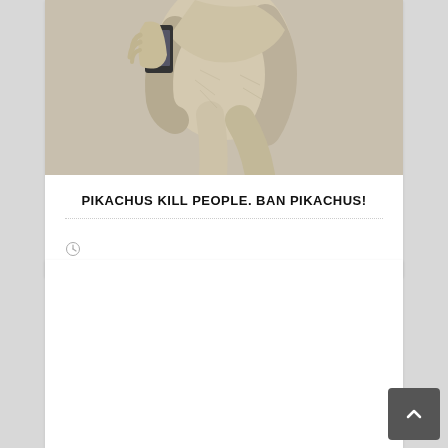[Figure (illustration): Classical painting or illustration of a figure holding a smartphone, rendered in pencil/charcoal style with muted tones. Shows the torso and hands of a classical-style figure holding a modern mobile phone.]
PIKACHUS KILL PEOPLE. BAN PIKACHUS!
[Figure (other): Clock icon, small circular clock symbol in light gray color.]
[Figure (other): Second white card / content block, mostly empty white space below the first article card.]